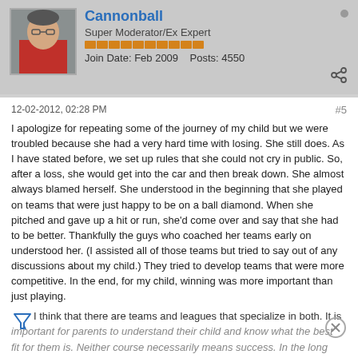Cannonball | Super Moderator/Ex Expert | Join Date: Feb 2009 | Posts: 4550
12-02-2012, 02:28 PM
#5
I apologize for repeating some of the journey of my child but we were troubled because she had a very hard time with losing. She still does. As I have stated before, we set up rules that she could not cry in public. So, after a loss, she would get into the car and then break down. She almost always blamed herself. She understood in the beginning that she played on teams that were just happy to be on a ball diamond. When she pitched and gave up a hit or run, she'd come over and say that she had to be better. Thankfully the guys who coached her teams early on understood her. (I assisted all of those teams but tried to say out of any discussions about my child.) They tried to develop teams that were more competitive. In the end, for my child, winning was more important than just playing.
I think that there are teams and leagues that specialize in both. It is important for parents to understand their child and know what the best fit for them is. Neither course necessarily means success. In the long run. The...include maturity...
RIP Joe Dudley (Jake Patterson) Oct. 25, 2012. Scott Springer...